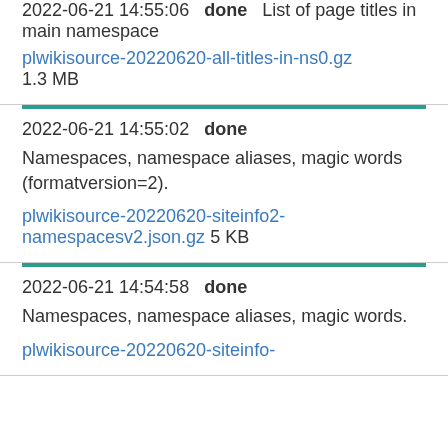2022-06-21 14:55:06   done   List of page titles in main namespace
plwikisource-20220620-all-titles-in-ns0.gz   1.3 MB
2022-06-21 14:55:02   done   Namespaces, namespace aliases, magic words (formatversion=2).
plwikisource-20220620-siteinfo2-namespacesv2.json.gz   5 KB
2022-06-21 14:54:58   done   Namespaces, namespace aliases, magic words.
plwikisource-20220620-siteinfo-